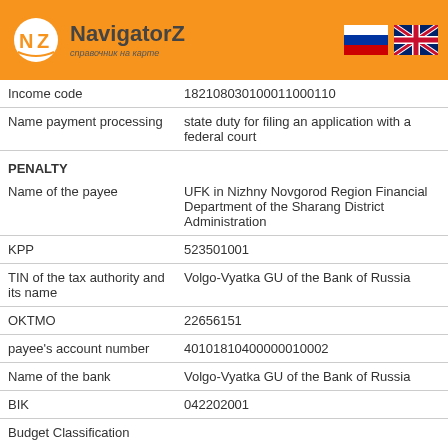[Figure (logo): NavigatorZ logo with orange circle and NZ letters, text 'справочник на карте']
[Figure (illustration): Russian flag]
[Figure (illustration): UK/British flag]
| Income code | 182108030100011000110 |
| Name payment processing | state duty for filing an application with a federal court |
| PENALTY |  |
| Name of the payee | UFK in Nizhny Novgorod Region Financial Department of the Sharang District Administration |
| KPP | 523501001 |
| TIN of the tax authority and its name | Volgo-Vyatka GU of the Bank of Russia |
| OKTMO | 22656151 |
| payee's account number | 40101810400000010002 |
| Name of the bank | Volgo-Vyatka GU of the Bank of Russia |
| BIK | 042202001 |
| Budget Classification |  |